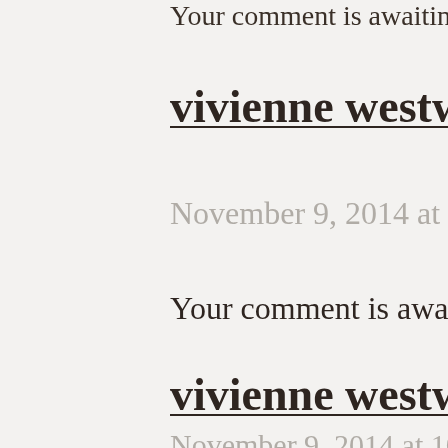Your comment is awaiting m…
vivienne westwood…
November 9, 2014 at 10:11
Your comment is awaiting m…
vivienne westwoo…
November 9, 2014 at 10:25